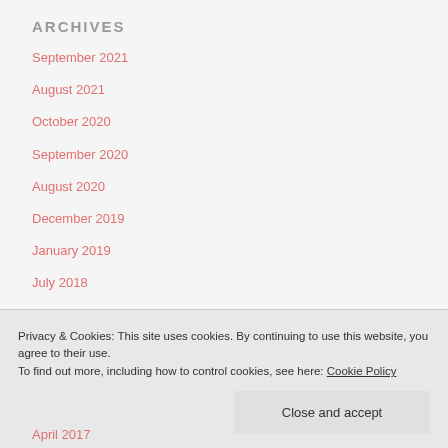ARCHIVES
September 2021
August 2021
October 2020
September 2020
August 2020
December 2019
January 2019
July 2018
June 2018
Privacy & Cookies: This site uses cookies. By continuing to use this website, you agree to their use.
To find out more, including how to control cookies, see here: Cookie Policy
Close and accept
April 2017